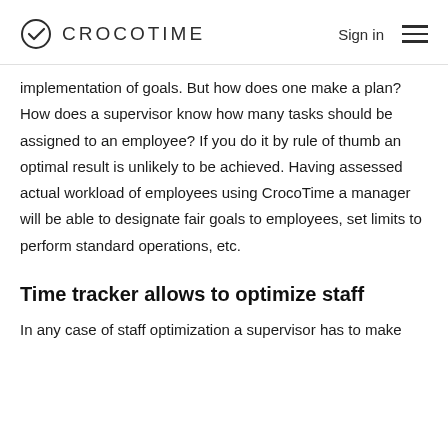CROCOTIME  Sign in
implementation of goals. But how does one make a plan? How does a supervisor know how many tasks should be assigned to an employee? If you do it by rule of thumb an optimal result is unlikely to be achieved. Having assessed actual workload of employees using CrocoTime a manager will be able to designate fair goals to employees, set limits to perform standard operations, etc.
Time tracker allows to optimize staff
In any case of staff optimization a supervisor has to make